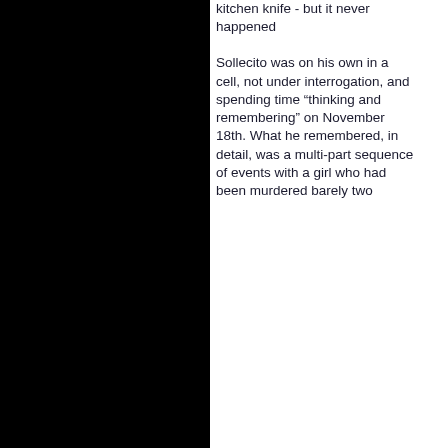kitchen knife - but it never happened
Sollecito was on his own in a cell, not under interrogation, and spending time “thinking and remembering” on November 18th. What he remembered, in detail, was a multi-part sequence of events with a girl who had been murdered barely two